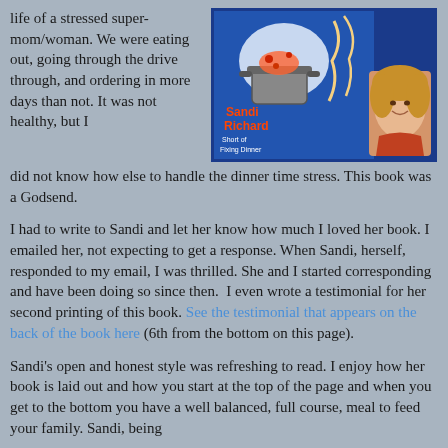life of a stressed super-mom/woman. We were eating out, going through the drive through, and ordering in more days than not. It was not healthy, but I did not know how else to handle the dinner time stress. This book was a Godsend.
[Figure (photo): Book cover of Sandi Richard's cooking book with cartoon illustrations and a photo of Sandi Richard with a blue background]
I had to write to Sandi and let her know how much I loved her book. I emailed her, not expecting to get a response. When Sandi, herself, responded to my email, I was thrilled. She and I started corresponding and have been doing so since then.  I even wrote a testimonial for her second printing of this book. See the testimonial that appears on the back of the book here (6th from the bottom on this page).
Sandi's open and honest style was refreshing to read. I enjoy how her book is laid out and how you start at the top of the page and when you get to the bottom you have a well balanced, full course, meal to feed your family. Sandi, being